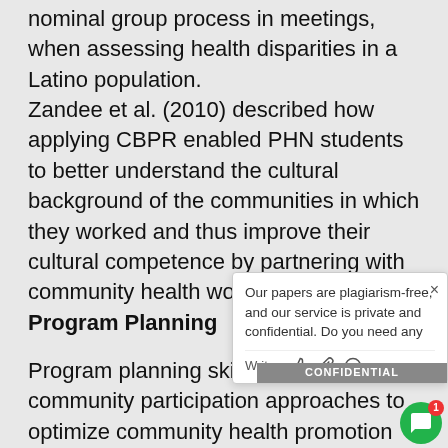nominal group process in meetings, when assessing health disparities in a Latino population. Zandee et al. (2010) described how applying CBPR enabled PHN students to better understand the cultural background of the communities in which they worked and thus improve their cultural competence by partnering with community health workers.
Program Planning
Program planning skills are used in community participation approaches to optimize community health promotion and disease prevention by public health nurses (Quad Council, 2011). In program planning, community health promotion and prevention nurses plan evidence-based programs by using in-depth analytic assessment skills, and can implement them more effectively by utilizing collaborations and partnerships gained from the CBPR method (Andrews et al., 2007; Hassouneh, Alcala-Moss, & McNeff, 2011...